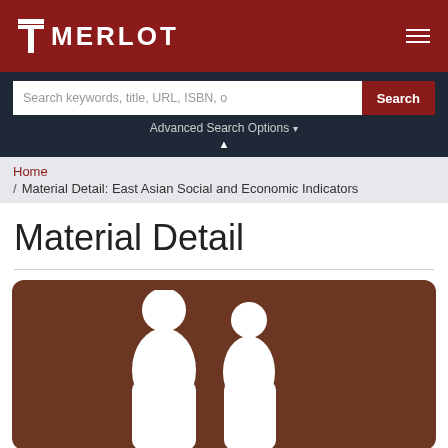MERLOT
Search keywords, title, URL, ISBN, o
Advanced Search Options
Home / Material Detail: East Asian Social and Economic Indicators
Material Detail
[Figure (logo): MERLOT logo icon — white stylized figure on brown/dark-brown rounded rectangle background]